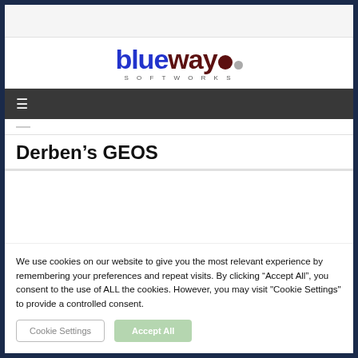[Figure (logo): Blueway Softworks logo with blue 'blue' and dark red 'way' text, SOFTWORKS subtitle, and two dots]
Derben’s GEOS
We use cookies on our website to give you the most relevant experience by remembering your preferences and repeat visits. By clicking “Accept All”, you consent to the use of ALL the cookies. However, you may visit "Cookie Settings" to provide a controlled consent.